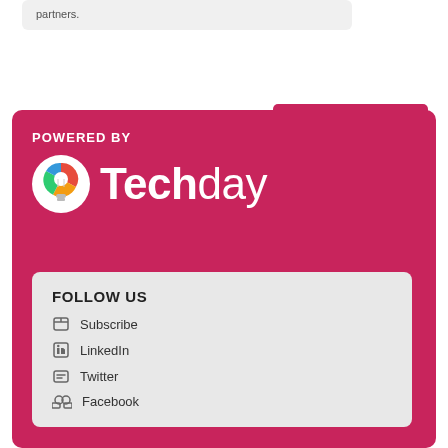partners.
MORE STORIES »
POWERED BY
[Figure (logo): Techday logo with colorful lightbulb icon in white circle]
FOLLOW US
Subscribe
LinkedIn
Twitter
Facebook